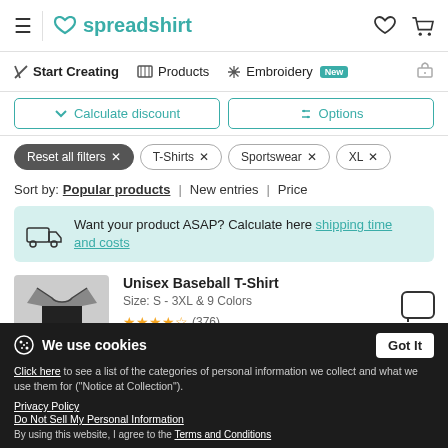spreadshirt
Start Creating | Products | Embroidery New
Calculate discount | Options
Reset all filters × T-Shirts × Sportswear × XL ×
Sort by: Popular products | New entries | Price
Want your product ASAP? Calculate here shipping time and costs
Unisex Baseball T-Shirt
Size: S - 3XL & 9 Colors
★★★★½ (376)
We use cookies
Click here to see a list of the categories of personal information we collect and what we use them for ("Notice at Collection").
Privacy Policy
Do Not Sell My Personal Information
By using this website, I agree to the Terms and Conditions